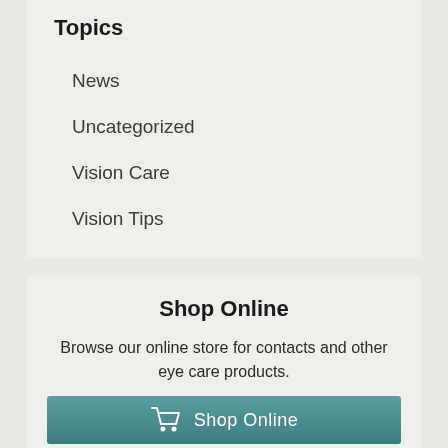Topics
News
Uncategorized
Vision Care
Vision Tips
Shop Online
Browse our online store for contacts and other eye care products.
Shop Online